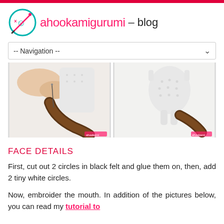ahookamigurumi – blog
[Figure (screenshot): Navigation dropdown menu bar with '-- Navigation --' text and chevron icon]
[Figure (photo): Two photos side by side showing a crocheted amigurumi figure with a dark brown textured tail/limb being attached with a needle (left) and the completed figure showing a white crocheted body with the attached dark brown tail/limb (right)]
FACE DETAILS
First, cut out 2 circles in black felt and glue them on, then, add 2 tiny white circles.
Now, embroider the mouth. In addition of the pictures below, you can read my tutorial to